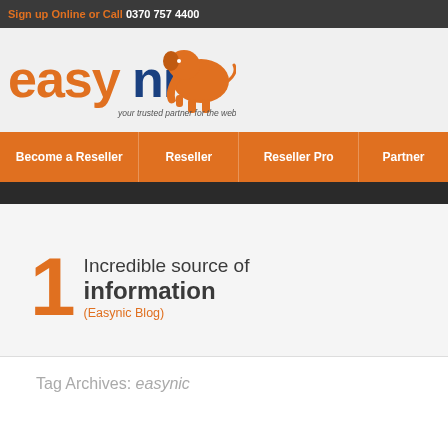Sign up Online or Call 0370 757 4400
[Figure (logo): Easynic logo with orange elephant and tagline 'your trusted partner for the web']
Become a Reseller | Reseller | Reseller Pro | Partner
1 Incredible source of information (Easynic Blog)
Tag Archives: easynic